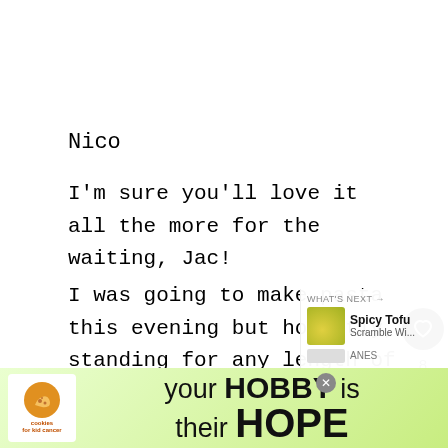Nico
I'm sure you'll love it all the more for the waiting, Jac!
I was going to make pasta this evening but honestly, standing for any length of time knocks the stuffing out of me. I don't think that K and I have both been sick at the same time before... we are b
[Figure (screenshot): Ad banner: cookies for kid cancer logo, 'your HOBBY is their HOPE' text on green background with close button]
[Figure (infographic): What's Next panel: Spicy Tofu Scramble thumbnail with arrow and text]